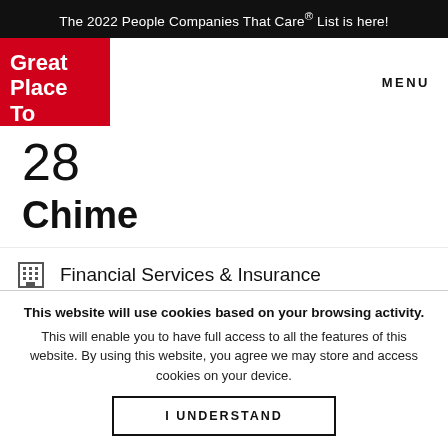The 2022 People Companies That Care® List is here!
[Figure (logo): Great Place To Work logo — white text on red background]
MENU
28
Chime
Financial Services & Insurance
San Francisco, CA, US
View Company Profile
This website will use cookies based on your browsing activity.
This will enable you to have full access to all the features of this website. By using this website, you agree we may store and access cookies on your device.
I UNDERSTAND